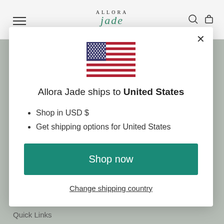[Figure (screenshot): Allora Jade website navigation bar with hamburger menu, logo, search and cart icons]
[Figure (illustration): United States flag icon]
Allora Jade ships to United States
Shop in USD $
Get shipping options for United States
Shop now
Change shipping country
Quick Links